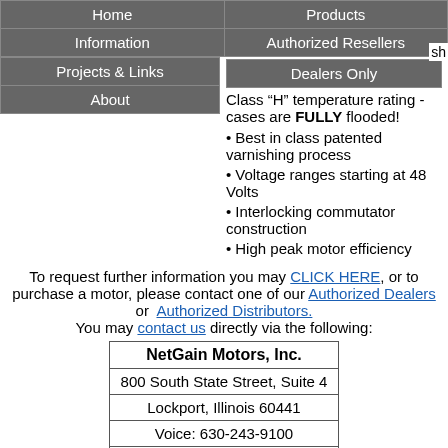| Home | Products |
| Information | Authorized Resellers |
| Projects & Links | Dealers Only |
| About |  |
Class “H” temperature rating - cases are FULLY flooded!
Best in class patented varnishing process
Voltage ranges starting at 48 Volts
Interlocking commutator construction
High peak motor efficiency
To request further information you may CLICK HERE, or to purchase a motor, please contact one of our Authorized Dealers or Authorized Distributors. You may contact us directly via the following:
| NetGain Motors, Inc. |
| 800 South State Street, Suite 4 |
| Lockport, Illinois 60441 |
| Voice: 630-243-9100 |
| Fax: 630-685-4054 |